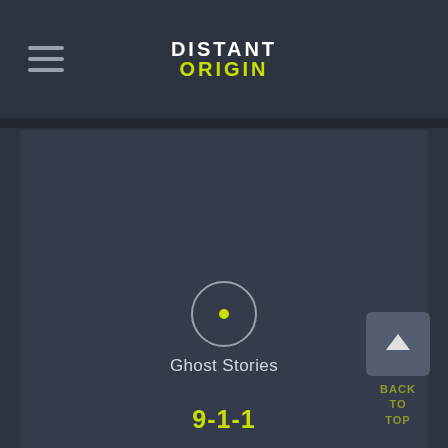DISTANT ORIGIN
[Figure (screenshot): Media player card showing a play button circle icon, show title 'Ghost Stories', episode title '9-1-1', and metadata 'Season 5, Episode 7 | 1:00am']
Ghost Stories
9-1-1
Season 5, Episode 7  |  1:00am
[Figure (screenshot): Partial second media card visible at bottom with Back To Top button]
BACK TO TOP